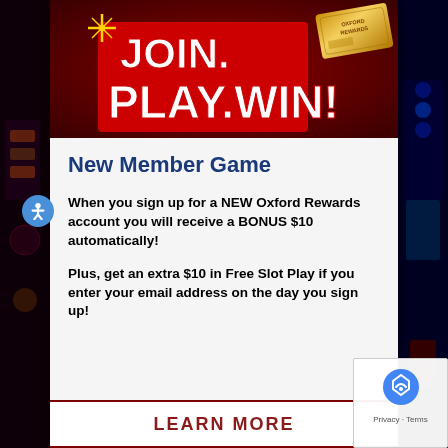[Figure (illustration): Casino promotional banner with dark red background showing JOIN. PLAY.WIN! text in white bold letters with red outline, and an Oxford Rewards gold card in the upper right corner. Sparkle/star graphic in upper left area.]
New Member Game
When you sign up for a NEW Oxford Rewards account you will receive a BONUS $10 automatically!
Plus, get an extra $10 in Free Slot Play if you enter your email address on the day you sign up!
LEARN MORE